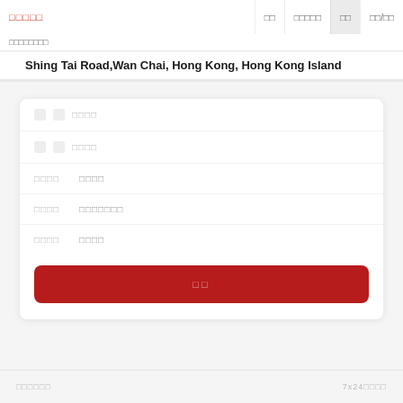□□□□□  □□  □□□□□  □□  □□/□□
□□□□□□□□
Shing Tai Road,Wan Chai, Hong Kong, Hong Kong Island
| □ | □ | □□□□ |
| □ | □ | □□□□ |
| □□□□ | □□□□ |
| □□□□ | □□□□□□□ |
| □□□□ | □□□□ |
□□
□□□□□□  7x24□□□□